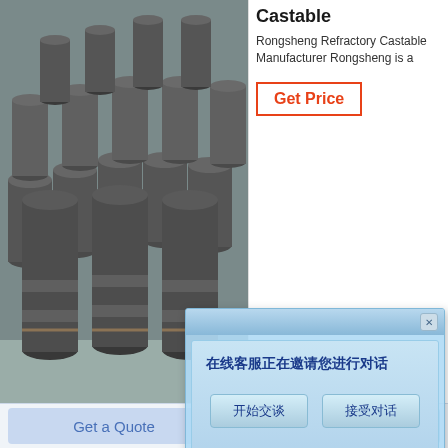[Figure (photo): Industrial graphite electrodes or refractory cylindrical rods stacked in rows outdoors]
Castable
Rongsheng Refractory Castable Manufacturer Rongsheng is a
Get Price
[Figure (screenshot): Online chat popup dialog in Chinese: 在线客服正在邀请您进行对话, with buttons 开始交谈 and 接受对话]
[Figure (logo): Rongsheng logo with colorful ball icon and text Rongsheng]
table
astable refractoryTools Supplies and
Get Price
Get a Quote
Chat Now